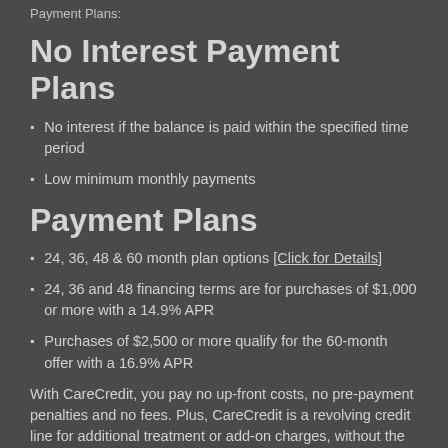Payment Plans:
No Interest Payment Plans
No interest if the balance is paid within the specified time period
Low minimum monthly payments
Payment Plans
24, 36, 48 & 60 month plan options [Click for Details]
24, 36 and 48 financing terms are for purchases of $1,000 or more with a 14.9% APR
Purchases of $2,500 or more qualify for the 60-month offer with a 16.9% APR
With CareCredit, you pay no up-front costs, no pre-payment penalties and no fees. Plus, CareCredit is a revolving credit line for additional treatment or add-on charges, without the need to re-apply. It only takes a few minutes to apply for CareCredit and you